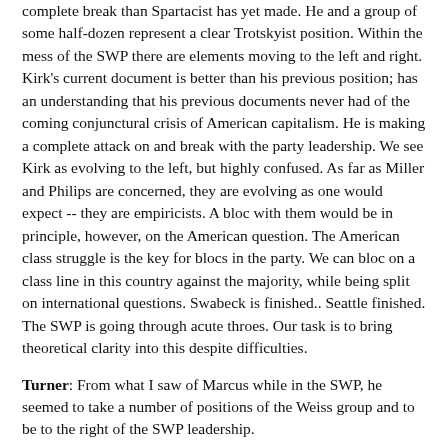complete break than Spartacist has yet made. He and a group of some half-dozen represent a clear Trotskyist position. Within the mess of the SWP there are elements moving to the left and right. Kirk's current document is better than his previous position; has an understanding that his previous documents never had of the coming conjunctural crisis of American capitalism. He is making a complete attack on and break with the party leadership. We see Kirk as evolving to the left, but highly confused. As far as Miller and Philips are concerned, they are evolving as one would expect -- they are empiricists. A bloc with them would be in principle, however, on the American question. The American class struggle is the key for blocs in the party. We can bloc on a class line in this country against the majority, while being split on international questions. Swabeck is finished.. Seattle finished. The SWP is going through acute throes. Our task is to bring theoretical clarity into this despite difficulties.
Turner: From what I saw of Marcus while in the SWP, he seemed to take a number of positions of the Weiss group and to be to the right of the SWP leadership.
Wohlforth: The Weissites were Pabloites...